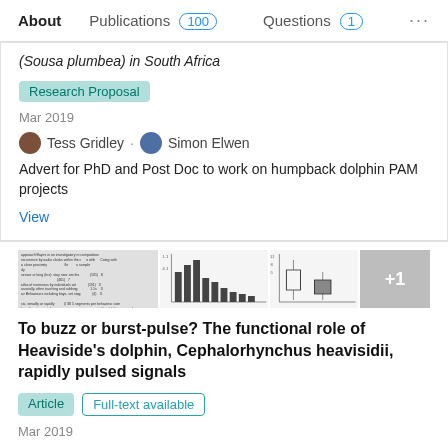About  Publications 100  Questions 1  ...
(Sousa plumbea) in South Africa
Research Proposal
Mar 2019
Tess Gridley · Simon Elwen
Advert for PhD and Post Doc to work on humpback dolphin PAM projects
View
[Figure (screenshot): Thumbnail images of a scientific paper including text, table, bar chart, box plot, and a +1 indicator for additional images]
To buzz or burst-pulse? The functional role of Heaviside's dolphin, Cephalorhynchus heavisidii, rapidly pulsed signals
Article  Full-text available
Mar 2019